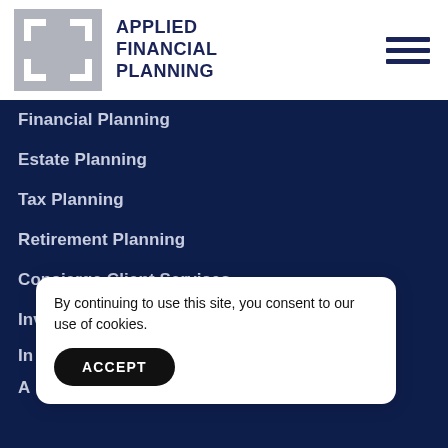[Figure (logo): Applied Financial Planning logo: grey square with stylized interlocking bracket shapes in white, next to bold dark navy text reading APPLIED FINANCIAL PLANNING]
Financial Planning
Estate Planning
Tax Planning
Retirement Planning
Concierge Client Services
Investment Management
In
A
By continuing to use this site, you consent to our use of cookies.
ACCEPT